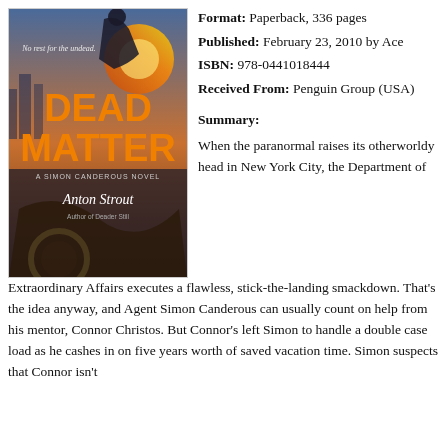[Figure (illustration): Book cover of 'Dead Matter: A Simon Canderous Novel' by Anton Strout. Shows a figure in dark clothing against an urban/fire background. Title text 'DEAD MATTER' in large orange letters. Tagline 'No rest for the undead.' at top. Author of Deader Still noted at bottom.]
Format: Paperback, 336 pages
Published: February 23, 2010 by Ace
ISBN: 978-0441018444
Received From: Penguin Group (USA)
Summary:
When the paranormal raises its otherworldy head in New York City, the Department of Extraordinary Affairs executes a flawless, stick-the-landing smackdown. That's the idea anyway, and Agent Simon Canderous can usually count on help from his mentor, Connor Christos. But Connor's left Simon to handle a double case load as he cashes in on five years worth of saved vacation time. Simon suspects that Connor isn't